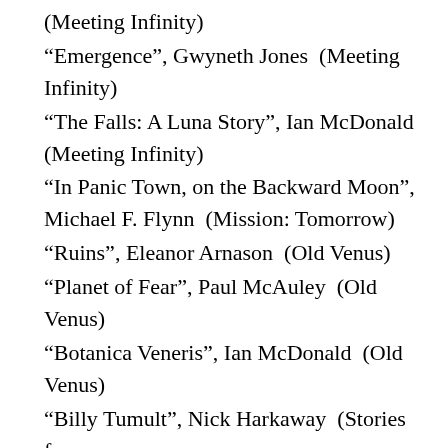(Meeting Infinity)
“Emergence”, Gwyneth Jones  (Meeting Infinity)
“The Falls: A Luna Story”, Ian McDonald  (Meeting Infinity)
“In Panic Town, on the Backward Moon”, Michael F. Flynn  (Mission: Tomorrow)
“Ruins”, Eleanor Arnason  (Old Venus)
“Planet of Fear”, Paul McAuley  (Old Venus)
“Botanica Veneris”, Ian McDonald  (Old Venus)
“Billy Tumult”, Nick Harkaway  (Stories for